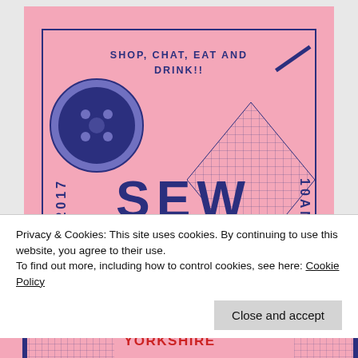[Figure (illustration): Pink sewing/craft event poster with navy blue border, large button graphic, diamond grid pattern, vertical text '2017' and '10AM', and large text 'SEW UP' with tagline 'SHOP, CHAT, EAT AND DRINK!!']
Privacy & Cookies: This site uses cookies. By continuing to use this website, you agree to their use.
To find out more, including how to control cookies, see here: Cookie Policy
Close and accept
YORKSHIRE